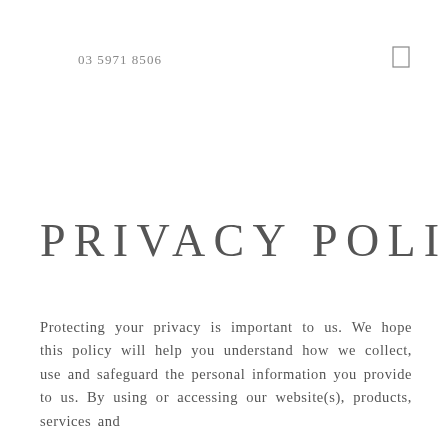03 5971 8506
PRIVACY POLICY
Protecting your privacy is important to us. We hope this policy will help you understand how we collect, use and safeguard the personal information you provide to us. By using or accessing our website(s), products, services and